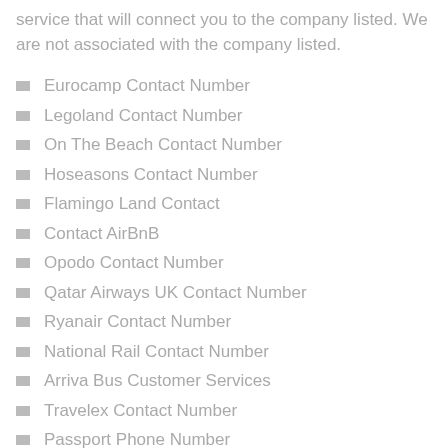service that will connect you to the company listed. We are not associated with the company listed.
Eurocamp Contact Number
Legoland Contact Number
On The Beach Contact Number
Hoseasons Contact Number
Flamingo Land Contact
Contact AirBnB
Opodo Contact Number
Qatar Airways UK Contact Number
Ryanair Contact Number
National Rail Contact Number
Arriva Bus Customer Services
Travelex Contact Number
Passport Phone Number